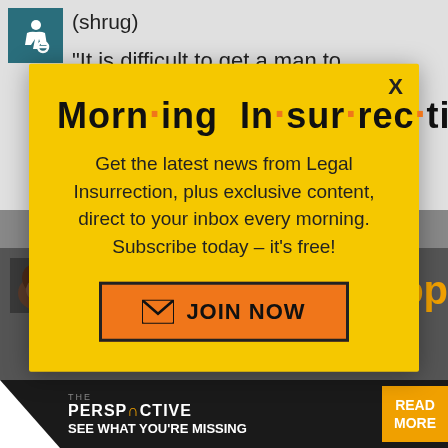(shrug)
“It is difficult to get a man to understand something, when his salary depends upon his not understanding it!” —
[Figure (infographic): Modal popup overlay for Morning Insurrection newsletter signup. Yellow background with large bold title 'Morn·ing In·sur·rec·tion', subtitle text 'Get the latest news from Legal Insurrection, plus exclusive content, direct to your inbox every morning. Subscribe today – it’s free!', and an orange JOIN NOW button with envelope icon. Black X close button in top right corner.]
Rick2guns | May 31, 2015 at 9:52 am
[Figure (infographic): The Perspective advertisement bar at the bottom with dark background, white triangle, 'THE PERSPECTIVE' logo with reversed text effect, 'SEE WHAT YOU'RE MISSING' tagline, and orange READ MORE button.]